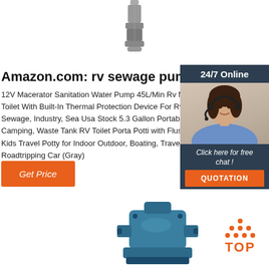[Figure (photo): Metal submersible pump top portion shown vertically, silver/grey metallic finish]
Amazon.com: rv sewage pump
12V Macerator Sanitation Water Pump 45L/Min Rv M Toilet With Built-In Thermal Protection Device For Rv, Sewage, Industry, Sea Usa Stock 5.3 Gallon Portable Camping, Waste Tank RV Toilet Porta Potti with Flush Kids Travel Potty for Indoor Outdoor, Boating, Trave Roadtripping Car (Gray)
[Figure (infographic): 24/7 Online chat widget with woman wearing headset, Click here for free chat, QUOTATION button in orange]
Get Price
[Figure (photo): Blue industrial sewage/water pump, large cast iron housing with flanged connections]
[Figure (logo): TOP logo with orange dots arranged in triangle above the word TOP in orange]